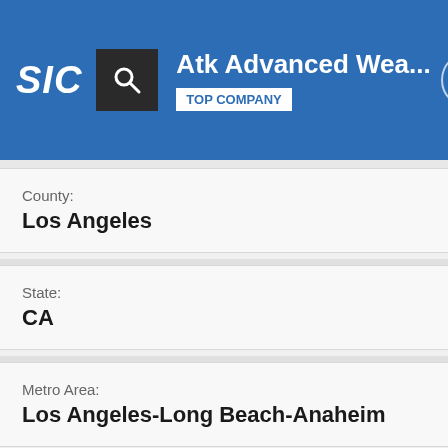SIC | Atk Advanced Wea... | TOP COMPANY
County:
Los Angeles
State:
CA
Metro Area:
Los Angeles-Long Beach-Anaheim
ZIP:
91324